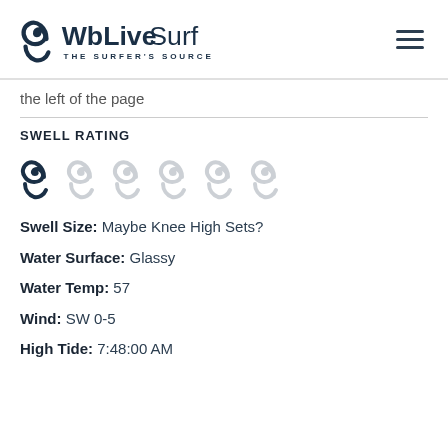WbLiveSurf — The Surfer's Source
the left of the page
SWELL RATING
[Figure (illustration): Swell rating icons: one dark wave icon followed by five light/faded wave icons, indicating a low swell rating of 1 out of 6]
Swell Size: Maybe Knee High Sets?
Water Surface: Glassy
Water Temp: 57
Wind: SW 0-5
High Tide: 7:48:00 AM